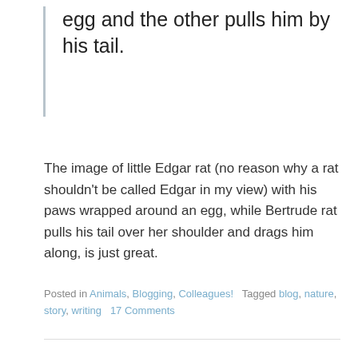egg and the other pulls him by his tail.
The image of little Edgar rat (no reason why a rat shouldn't be called Edgar in my view) with his paws wrapped around an egg, while Bertrude rat pulls his tail over her shoulder and drags him along, is just great.
Posted in Animals, Blogging, Colleagues!   Tagged blog, nature, story, writing   17 Comments
Gangster Foxes: Talbot and Reynard
Posted on September 11, 2020